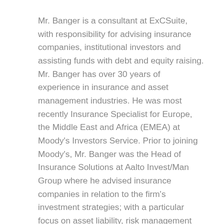Mr. Banger is a consultant at ExCSuite, with responsibility for advising insurance companies, institutional investors and assisting funds with debt and equity raising. Mr. Banger has over 30 years of experience in insurance and asset management industries. He was most recently Insurance Specialist for Europe, the Middle East and Africa (EMEA) at Moody's Investors Service. Prior to joining Moody's, Mr. Banger was the Head of Insurance Solutions at Aalto Invest/Man Group where he advised insurance companies in relation to the firm's investment strategies; with a particular focus on asset liability, risk management and fund equity raising. Prior to joining Aalto, Mr. Banger